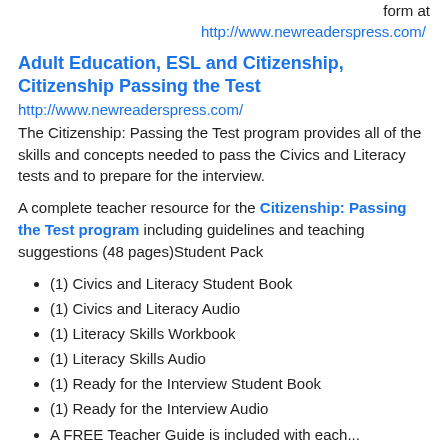form at
http://www.newreaderspress.com/
Adult Education, ESL and Citizenship, Citizenship Passing the Test
http://www.newreaderspress.com/
The Citizenship: Passing the Test program provides all of the skills and concepts needed to pass the Civics and Literacy tests and to prepare for the interview.
A complete teacher resource for the Citizenship: Passing the Test program including guidelines and teaching suggestions (48 pages)Student Pack
(1) Civics and Literacy Student Book
(1) Civics and Literacy Audio
(1) Literacy Skills Workbook
(1) Literacy Skills Audio
(1) Ready for the Interview Student Book
(1) Ready for the Interview Audio
A FREE Teacher Guide is included with each...